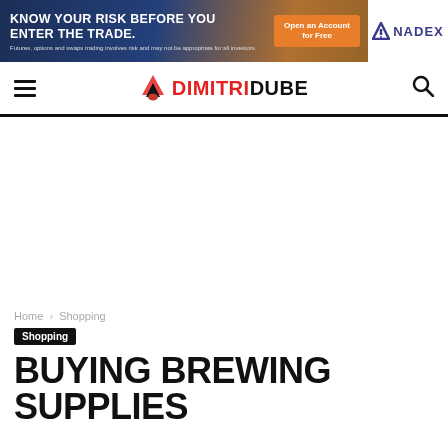[Figure (infographic): NADEX advertisement banner: 'KNOW YOUR RISK BEFORE YOU ENTER THE TRADE.' with an orange 'Open an Account for Free' button and NADEX logo on white background. Disclaimer: 'Futures, options and swaps trading involves risk and may not be appropriate for all investors.']
DIMITRIDUBE — navigation bar with hamburger menu and search icon
Home › Shopping
Shopping
BUYING BREWING SUPPLIES